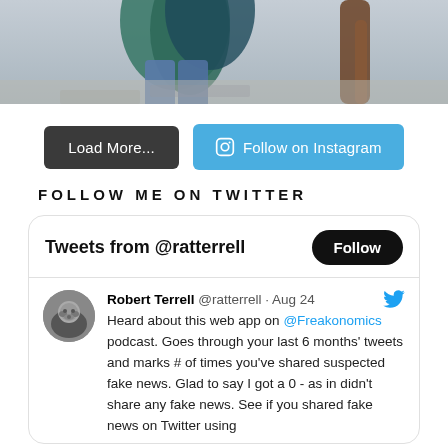[Figure (photo): Partial photo of a person wearing a teal/green jacket and jeans, lower body visible, near what appears to be a stone or wooden railing]
Load More...
Follow on Instagram
FOLLOW ME ON TWITTER
Tweets from @ratterrell
Robert Terrell @ratterrell · Aug 24
Heard about this web app on @Freakonomics podcast. Goes through your last 6 months' tweets and marks # of times you've shared suspected fake news. Glad to say I got a 0 - as in didn't share any fake news. See if you shared fake news on Twitter using